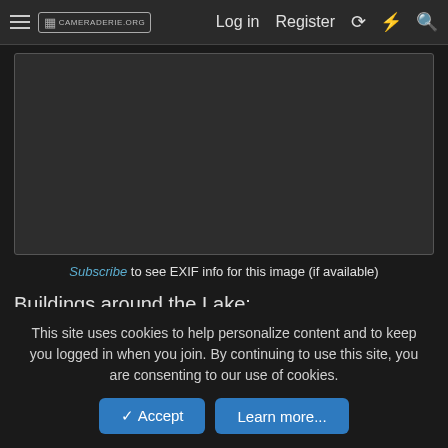≡ [☷] CAMERADERIE.ORG   Log in   Register   ↺   ⚡   🔍
[Figure (photo): Dark/black image placeholder rectangle]
Subscribe to see EXIF info for this image (if available)
Buildings around the Lake:
[Figure (photo): Dark/black image placeholder rectangle (smaller)]
This site uses cookies to help personalize content and to keep you logged in when you join. By continuing to use this site, you are consenting to our use of cookies.